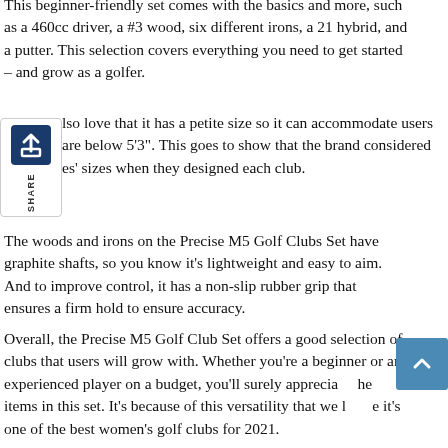This beginner-friendly set comes with the basics and more, such as a 460cc driver, a #3 wood, six different irons, a 21 hybrid, and a putter. This selection covers everything you need to get started – and grow as a golfer.
Also love that it has a petite size so it can accommodate users who are below 5'3". This goes to show that the brand considered users' sizes when they designed each club.
The woods and irons on the Precise M5 Golf Clubs Set have graphite shafts, so you know it's lightweight and easy to aim. And to improve control, it has a non-slip rubber grip that ensures a firm hold to ensure accuracy.
Overall, the Precise M5 Golf Club Set offers a good selection of clubs that users will grow with. Whether you're a beginner or an experienced player on a budget, you'll surely appreciate the items in this set. It's because of this versatility that we love it's one of the best women's golf clubs for 2021.